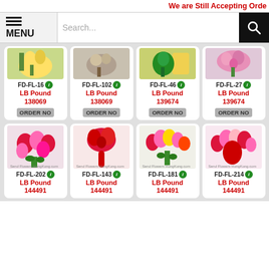We are Still Accepting Orde...
[Figure (screenshot): Navigation bar with MENU button and search input field with search icon]
| Product ID | Price | Action |
| --- | --- | --- |
| FD-FL-16 | LB Pound 138069 | ORDER NO |
| FD-FL-102 | LB Pound 138069 | ORDER NO |
| FD-FL-46 | LB Pound 139674 | ORDER NO |
| FD-FL-27 | LB Pound 139674 | ORDER NO |
| FD-FL-202 | LB Pound 144491 | ORDER NO |
| FD-FL-143 | LB Pound 144491 | ORDER NO |
| FD-FL-181 | LB Pound 144491 | ORDER NO |
| FD-FL-214 | LB Pound 144491 | ORDER NO |